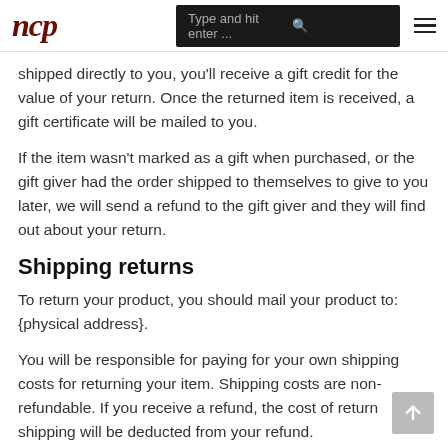ncp | Type and hit enter ...
shipped directly to you, you'll receive a gift credit for the value of your return. Once the returned item is received, a gift certificate will be mailed to you.
If the item wasn't marked as a gift when purchased, or the gift giver had the order shipped to themselves to give to you later, we will send a refund to the gift giver and they will find out about your return.
Shipping returns
To return your product, you should mail your product to: {physical address}.
You will be responsible for paying for your own shipping costs for returning your item. Shipping costs are non-refundable. If you receive a refund, the cost of return shipping will be deducted from your refund.